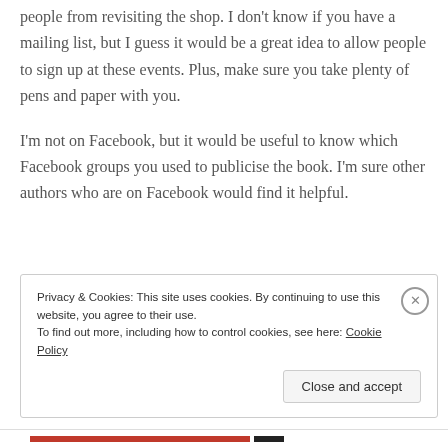people from revisiting the shop. I don't know if you have a mailing list, but I guess it would be a great idea to allow people to sign up at these events. Plus, make sure you take plenty of pens and paper with you.
I'm not on Facebook, but it would be useful to know which Facebook groups you used to publicise the book. I'm sure other authors who are on Facebook would find it helpful.
Privacy & Cookies: This site uses cookies. By continuing to use this website, you agree to their use. To find out more, including how to control cookies, see here: Cookie Policy
Close and accept